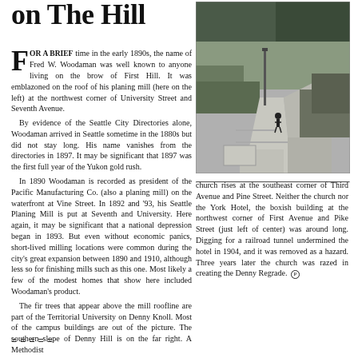on The Hill
[Figure (photo): Black and white photograph of a park or garden path with hedges and trees, a single figure walking on the path, lush greenery in the background.]
FOR A BRIEF time in the early 1890s, the name of Fred W. Woodaman was well known to anyone living on the brow of First Hill. It was emblazoned on the roof of his planing mill (here on the left) at the northwest corner of University Street and Seventh Avenue.

By evidence of the Seattle City Directories alone, Woodaman arrived in Seattle sometime in the 1880s but did not stay long. His name vanishes from the directories in 1897. It may be significant that 1897 was the first full year of the Yukon gold rush.

In 1890 Woodaman is recorded as president of the Pacific Manufacturing Co. (also a planing mill) on the waterfront at Vine Street. In 1892 and '93, his Seattle Planing Mill is put at Seventh and University. Here again, it may be significant that a national depression began in 1893. But even without economic panics, short-lived milling locations were common during the city's great expansion between 1890 and 1910, although less so for finishing mills such as this one. Most likely a few of the modest homes that show here included Woodaman's product.

The fir trees that appear above the mill roofline are part of the Territorial University on Denny Knoll. Most of the campus buildings are out of the picture. The southern slope of Denny Hill is on the far right. A Methodist church rises at the southeast corner of Third Avenue and Pine Street. Neither the church nor the York Hotel, the boxish building at the northwest corner of First Avenue and Pike Street (just left of center) was around long. Digging for a railroad tunnel undermined the hotel in 1904, and it was removed as a hazard. Three years later the church was razed in creating the Denny Regrade.
=====